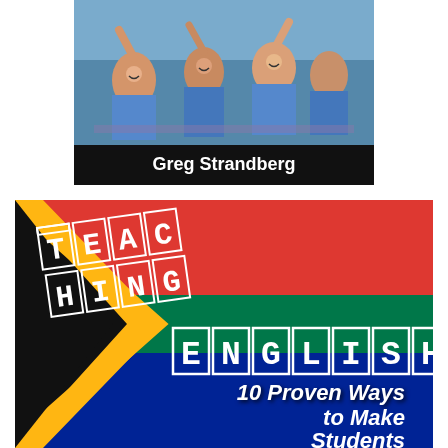[Figure (photo): Top book cover showing Asian students in blue uniforms in a classroom, smiling and raising hands, with author name 'Greg Strandberg' on a black banner at the bottom of the image.]
[Figure (photo): Bottom book cover showing South African flag design with bold stamp-style text 'TEACHING ENGLISH' and subtitle '10 Proven Ways to Make Students...' (text cut off at bottom).]